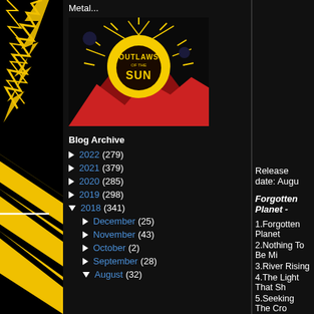[Figure (illustration): Black and yellow lightning bolt / decorative strip on left side of page]
Metal...
[Figure (photo): Album cover art for 'Outlaws of the Sun' - yellow sun with rays on black background with red desert mountains]
Blog Archive
► 2022 (279)
► 2021 (379)
► 2020 (285)
► 2019 (298)
▼ 2018 (341)
► December (25)
► November (43)
► October (2)
► September (28)
▼ August (32)
Release date: Augu
Forgotten Planet -
1.Forgotten Planet
2.Nothing To Be Mi
3.River Rising
4.The Light That Sh
5.Seeking The Cro
6.Behemoth
7.Half-Hearted
8.Solitude
9.King Of Scars